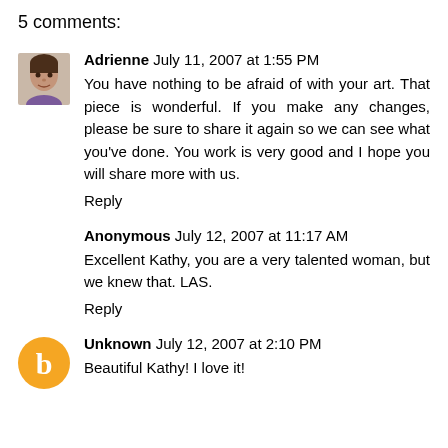5 comments:
Adrienne July 11, 2007 at 1:55 PM
You have nothing to be afraid of with your art. That piece is wonderful. If you make any changes, please be sure to share it again so we can see what you've done. You work is very good and I hope you will share more with us.
Reply
Anonymous July 12, 2007 at 11:17 AM
Excellent Kathy, you are a very talented woman, but we knew that. LAS.
Reply
Unknown July 12, 2007 at 2:10 PM
Beautiful Kathy! I love it!